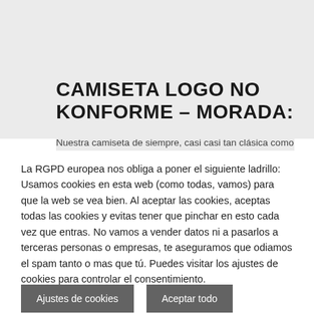CAMISETA LOGO NO KONFORME – MORADA:
Nuestra camiseta de siempre, casi casi tan clásica como
La RGPD europea nos obliga a poner el siguiente ladrillo: Usamos cookies en esta web (como todas, vamos) para que la web se vea bien. Al aceptar las cookies, aceptas todas las cookies y evitas tener que pinchar en esto cada vez que entras. No vamos a vender datos ni a pasarlos a terceras personas o empresas, te aseguramos que odiamos el spam tanto o mas que tú. Puedes visitar los ajustes de cookies para controlar el consentimiento.
Ajustes de cookies
Aceptar todo